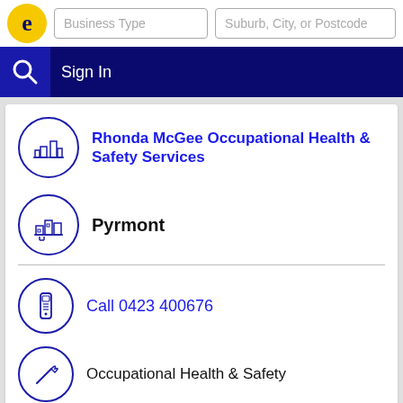[Figure (screenshot): Business directory search bar with logo, business type input, suburb/city/postcode input]
Sign In
Rhonda McGee Occupational Health & Safety Services
Pyrmont
Call 0423 400676
Occupational Health & Safety
13/ 14a Quarry Master Drv, Pyrmont - NSW 2009